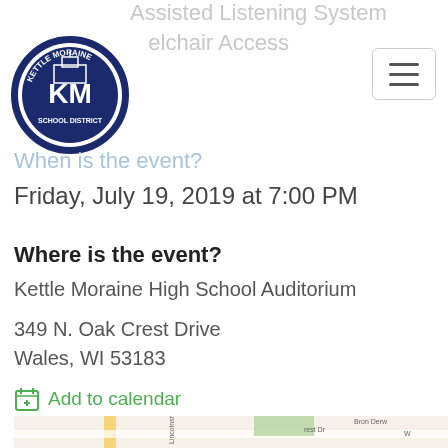Kettle Moraine School District logo and navigation
Assisted Listening System
Wheelchair Access
When is the event?
Friday, July 19, 2019 at 7:00 PM
Where is the event?
Kettle Moraine High School Auditorium
349 N. Oak Crest Drive
Wales, WI 53183
Add to calendar
[Figure (map): Google Maps view showing Kettle Moraine High School at 349 N. Oak Crest Drive, Wales, WI 53183, with surrounding streets including Lincolnshire Pl and Bron Derw Ct.]